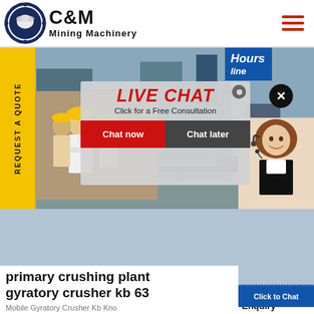[Figure (logo): C&M Mining Machinery logo with eagle/gear icon in dark blue circle, bold black text 'C&M' and 'Mining Machinery']
[Figure (screenshot): Website screenshot showing mining machinery website with live chat popup overlay, worker photos, yellow REQUEST A QUOTE sidebar tab, and support agent photo]
LIVE CHAT
Click for a Free Consultation
Chat now
Chat later
Hours
line
REQUEST A QUOTE
Click to Chat
primary crushing plant gyratory crusher kb 63
Mobile Gyratory Crusher Kb Kno
Enquiry